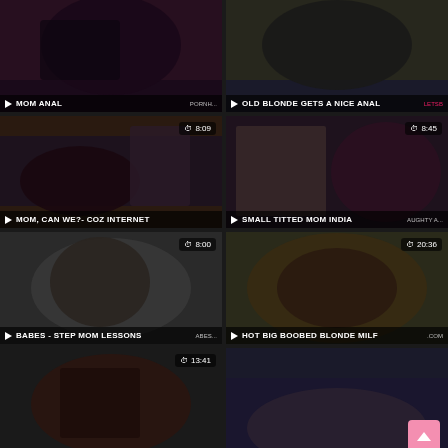[Figure (screenshot): Video thumbnail grid showing adult video titles: MOM ANAL, OLD BLONDE GETS A NICE ANAL, MOM CAN WE?- COZ INTERNET, SMALL TITTED MOM INDIA, BABES - STEP MOM LESSONS, HOT BIG BOOBED BLONDE MILF, and two partially visible thumbnails at bottom. Durations shown: 8:09, 8:45, 8:00, 20:36, 13:41.]